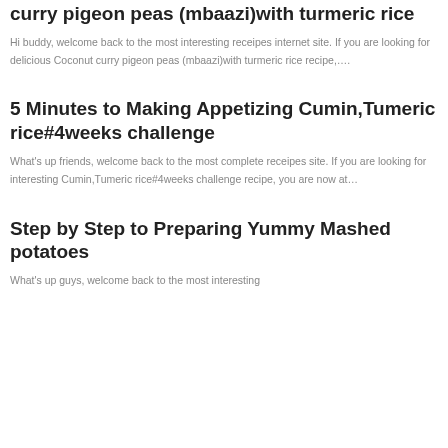curry pigeon peas (mbaazi)with turmeric rice
Hi buddy, welcome back to the most interesting receipes internet site. If you are looking for delicious Coconut curry pigeon peas (mbaazi)with turmeric rice recipe,….
5 Minutes to Making Appetizing Cumin,Tumeric rice#4weeks challenge
What's up friends, welcome back to the most complete receipes site. If you are looking for interesting Cumin,Tumeric rice#4weeks challenge recipe, you are now at…
Step by Step to Preparing Yummy Mashed potatoes
What's up guys, welcome back to the most interesting